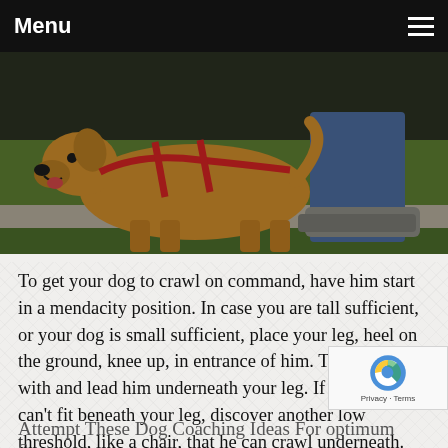Menu
[Figure (photo): A golden retriever dog wearing a red harness walking alongside a person in jeans and sneakers on a sidewalk with grass in the background.]
To get your dog to crawl on command, have him start in a mendacity position. In case you are tall sufficient, or your dog is small sufficient, place your leg, heel on the ground, knee up, in entrance of him. Take a deal with and lead him underneath your leg. If your dog can't fit beneath your leg, discover another low threshold, like a chair, that he can crawl underneath. This makes him should scoot ahead to get the treat and will reduce his urge to face up to follow you
Attempt These Dog Coaching Ideas For optimum Success